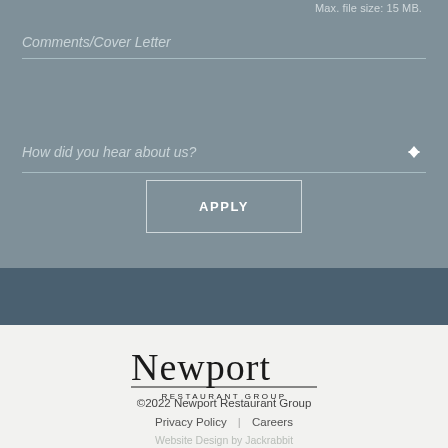Max. file size: 15 MB.
Comments/Cover Letter
How did you hear about us?
APPLY
[Figure (logo): Newport Restaurant Group logo — stylized script 'Newport' with 'RESTAURANT GROUP' in small caps below, with a horizontal rule]
©2022 Newport Restaurant Group
Privacy Policy | Careers
Website Design by Jackrabbit